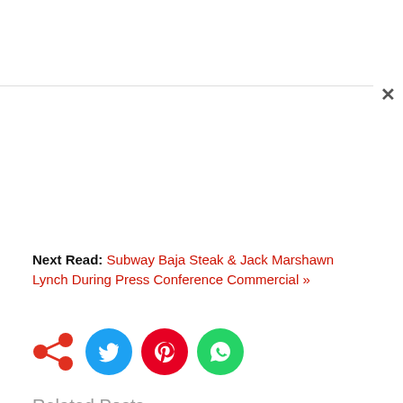Next Read: Subway Baja Steak & Jack Marshawn Lynch During Press Conference Commercial »
[Figure (infographic): Social sharing icons: share (red nodes), Twitter (blue circle), Pinterest (red circle), WhatsApp (green circle)]
Related Posts